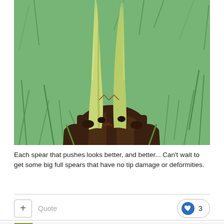[Figure (photo): Close-up photo of plant spears/shoots emerging from a dark brown base, with green grass in the background. The tall pale yellow-green spears are pushing upward.]
Each spear that pushes looks better, and better... Can't wait to get some big full spears that have no tip damage or deformities.
Quote
3
Will Simpson